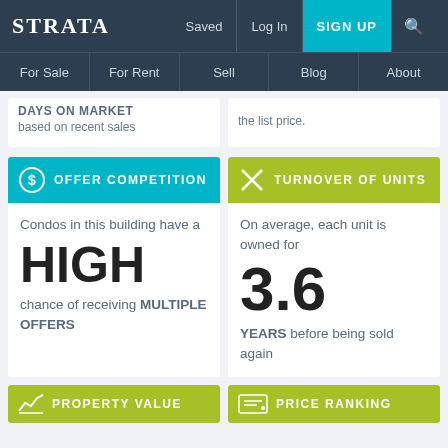STRATA | Saved | Log In | SIGN UP
For Sale | For Rent | Sell | Blog | About
DAYS ON MARKET
based on recent sales
the list price.
OFFER COMPETITION
Condos in this building have a HIGH chance of receiving MULTIPLE OFFERS
TURNOVER OF UNITS
On average, each unit is owned for 3.6 YEARS before being sold again
PROPERTY VALUE
PRICE RANKING